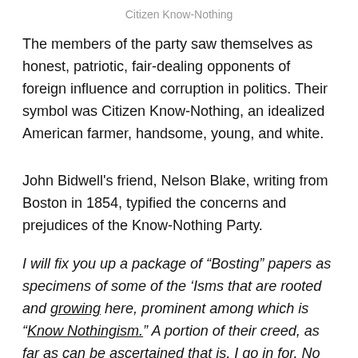Citizen Know-Nothing
The members of the party saw themselves as honest, patriotic, fair-dealing opponents of foreign influence and corruption in politics. Their symbol was Citizen Know-Nothing, an idealized American farmer, handsome, young, and white.
John Bidwell's friend, Nelson Blake, writing from Boston in 1854, typified the concerns and prejudices of the Know-Nothing Party.
I will fix you up a package of “Bosting” papers as specimens of some of the ‘Isms that are rooted and growing here, prominent among which is “Know Nothingism.” A portion of their creed, as far as can be ascertained that is, I go in for. No man that looks upon the Pope as Christ’s Vice Regent and infallible is fit to be one